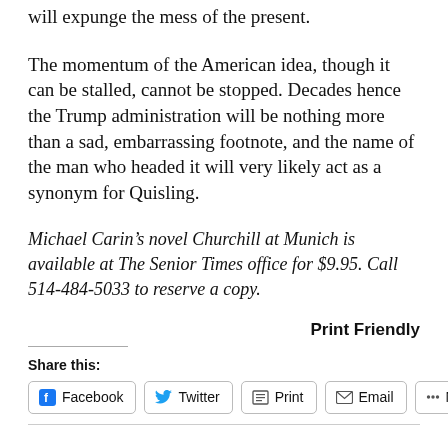will expunge the mess of the present.
The momentum of the American idea, though it can be stalled, cannot be stopped. Decades hence the Trump administration will be nothing more than a sad, embarrassing footnote, and the name of the man who headed it will very likely act as a synonym for Quisling.
Michael Carin’s novel Churchill at Munich is available at The Senior Times office for $9.95. Call 514-484-5033 to reserve a copy.
Print Friendly
Share this:
Facebook | Twitter | Print | Email | More